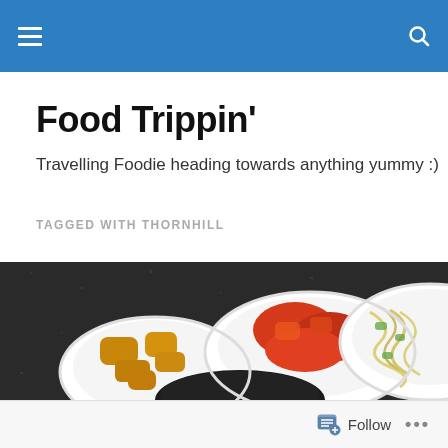Navigation bar with menu and search icons
Food Trippin'
Travelling Foodie heading towards anything yummy :)
TAGGED WITH THORNHILL
[Figure (photo): Overhead view of three white bowls containing Korean side dishes (banchan) on a dark granite surface: fried tofu/chicken pieces, kimchi (red fermented vegetables), and noodles/glass noodles with vegetables. A dark stone pot is partially visible at the bottom center.]
Follow  •••